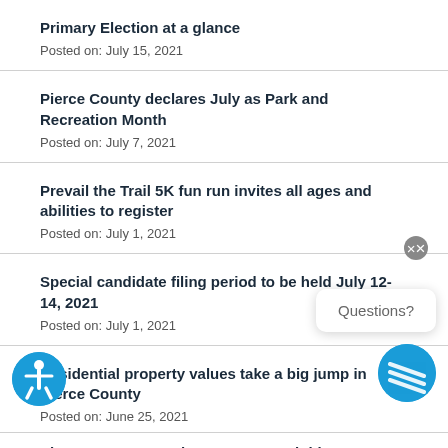Primary Election at a glance
Posted on: July 15, 2021
Pierce County declares July as Park and Recreation Month
Posted on: July 7, 2021
Prevail the Trail 5K fun run invites all ages and abilities to register
Posted on: July 1, 2021
Special candidate filing period to be held July 12-14, 2021
Posted on: July 1, 2021
Residential property values take a big jump in Pierce County
Posted on: June 25, 2021
Pierce County Development Center lobby reopening